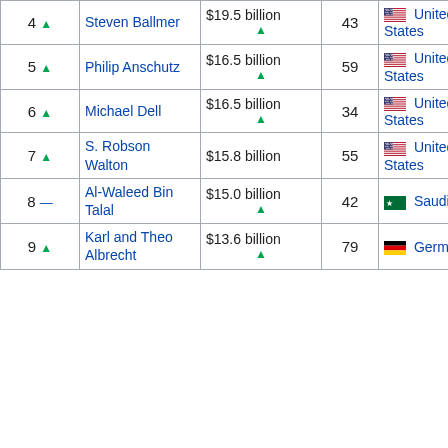| Rank | Name | Net Worth | Age | Nationality | Source |
| --- | --- | --- | --- | --- | --- |
| 4 ▲ | Steven Ballmer | $19.5 billion ▲ | 43 | 🇺🇸 United States | M |
| 5 ▲ | Philip Anschutz | $16.5 billion ▲ | 59 | 🇺🇸 United States | T A C |
| 6 ▲ | Michael Dell | $16.5 billion ▲ | 34 | 🇺🇸 United States | D |
| 7 ▲ | S. Robson Walton | $15.8 billion | 55 | 🇺🇸 United States | W |
| 8 — | Al-Waleed Bin Talal | $15.0 billion ▲ | 42 | 🇸🇦 Saudi Arabia | K H C |
| 9 ▲ | Karl and Theo Albrecht | $13.6 billion ▲ | 79 | 🇩🇪 Germany | A |